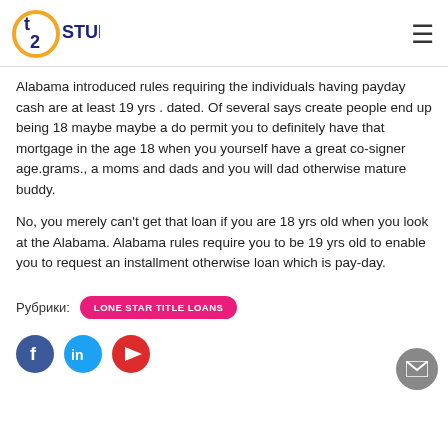t2 Studio
Alabama introduced rules requiring the individuals having payday cash are at least 19 yrs . dated. Of several says create people end up being 18 maybe maybe a do permit you to definitely have that mortgage in the age 18 when you yourself have a great co-signer age.grams., a moms and dads and you will dad otherwise mature buddy.
No, you merely can't get that loan if you are 18 yrs old when you look at the Alabama. Alabama rules require you to be 19 yrs old to enable you to request an installment otherwise loan which is pay-day.
Рубрики:
LONE STAR TITLE LOANS